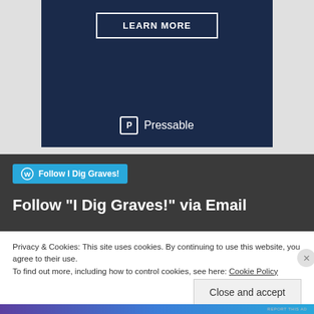[Figure (other): Pressable advertisement banner with dark navy background, 'LEARN MORE' button with white border, and Pressable logo at bottom]
REPORT THIS AD
[Figure (other): Follow button with WordPress icon and cyan background reading 'Follow I Dig Graves!']
Follow "I Dig Graves!" via Email
Privacy & Cookies: This site uses cookies. By continuing to use this website, you agree to their use.
To find out more, including how to control cookies, see here: Cookie Policy
Close and accept